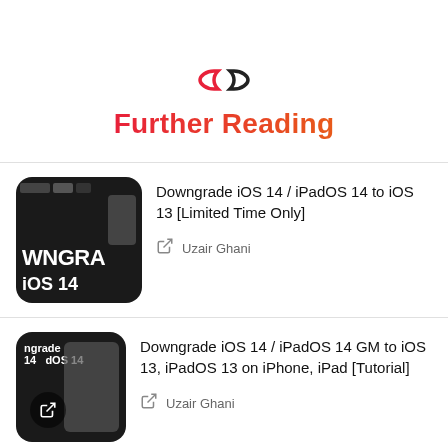[Figure (logo): Chain link icon in red/orange gradient]
Further Reading
[Figure (photo): Dark thumbnail with WNGRA and iOS 14 text]
Downgrade iOS 14 / iPadOS 14 to iOS 13 [Limited Time Only]
Uzair Ghani
[Figure (photo): Dark thumbnail with ngrade iOS 14 dOS 14 text and share icon]
Downgrade iOS 14 / iPadOS 14 GM to iOS 13, iPadOS 13 on iPhone, iPad [Tutorial]
Uzair Ghani
[Figure (photo): Pink/peach colored thumbnail]
Download iOS 13.7 Final for iPhone and iPad with COVID-19 Exposure Notifications Without App